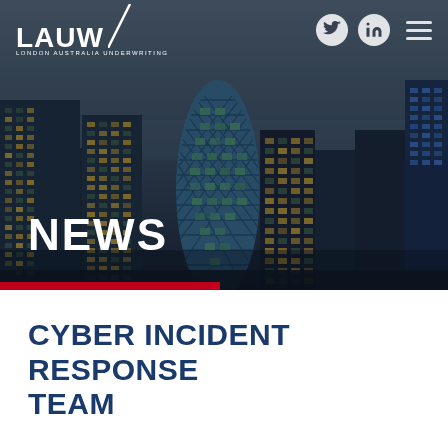[Figure (photo): London city skyline at dusk/night showing the Gherkin building (30 St Mary Axe) prominently in the center, with other skyscrapers and city lights, dark blue-grey sky]
LAUW / LONDON AUSTRALIA UNDERWRITING
NEWS
CYBER INCIDENT RESPONSE TEAM